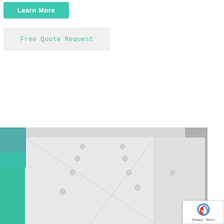Learn More
Free Quote Request
[Figure (photo): Aerial or close-up view of a white rooftop with screws/bolts visible, showing roof panels and fasteners. A teal/turquoise colored element is visible on the left edge and a gray panel on the right.]
[Figure (other): reCAPTCHA badge with Privacy and Terms links]